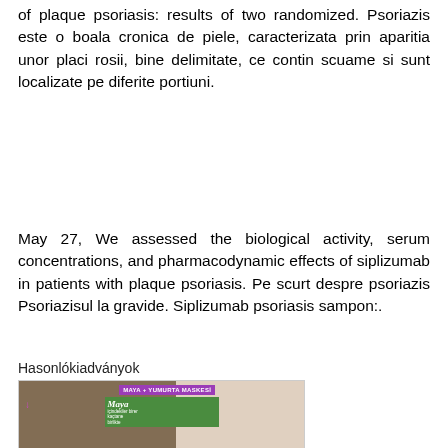of plaque psoriasis: results of two randomized. Psoriazis este o boala cronica de piele, caracterizata prin aparitia unor placi rosii, bine delimitate, ce contin scuame si sunt localizate pe diferite portiuni.
May 27, We assessed the biological activity, serum concentrations, and pharmacodynamic effects of siplizumab in patients with plaque psoriasis. Pe scurt despre psoriazis Psoriazisul la gravide. Siplizumab psoriasis sampon:.
Hasonlókiadványok
[Figure (photo): Promotional image showing skin condition on left side and Maya + Yumurta Maskesi product with egg on right side. Purple arrow pointing to skin. Banner text reads MAYA + YUMURTA MASKESİ with Maya brand logo on green background.]